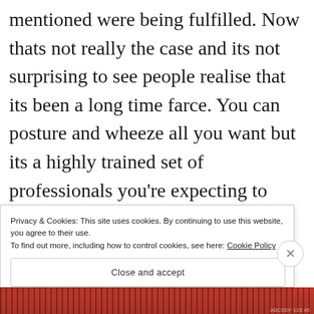mentioned were being fulfilled. Now thats not really the case and its not surprising to see people realise that its been a long time farce. You can posture and wheeze all you want but its a highly trained set of professionals you're expecting to work for WAY less than the national minimum living wage on anti-social shifts, along with minimal personal life and a poor work life
Privacy & Cookies: This site uses cookies. By continuing to use this website, you agree to their use.
To find out more, including how to control cookies, see here: Cookie Policy
Close and accept